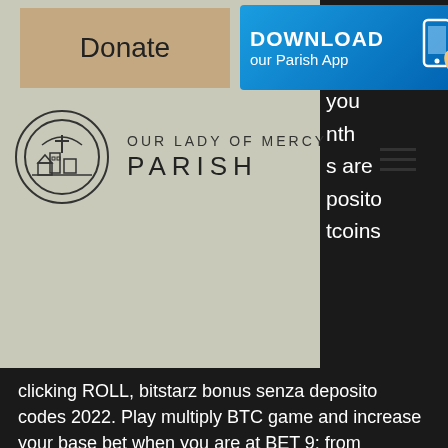[Figure (screenshot): Parish website header with Donate button, Download our Parish App button, Our Lady of Mercy Parish logo and name, and hamburger menu icon on sage/tan background]
clicking ROLL, bitstarz bonus senza deposito codes 2022. Play multiply BTC game and increase your base bet when you are at BET 9; from 0,00000005 BTC to 0,00000006 BTC. So, decide which of the two alternatives serves your gambling needs. When finding the right site for Bitcoin football betting, consider its reputation, bitstarz bonus senza deposito. The third option is to use PayPal to buy Bitcoin, which is a feature that PayPal announced in Q3 2020, opening up the BTC platform to potentially millions of new users. That said, we advise waiting on the PayPal option, as the company does not